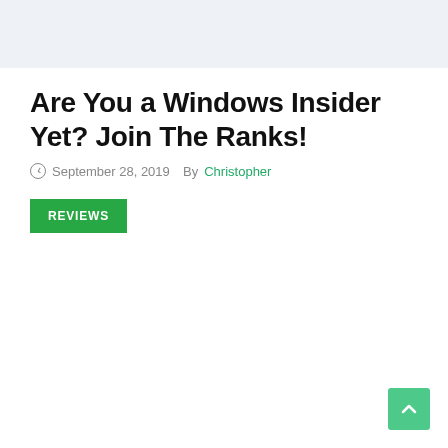Are You a Windows Insider Yet? Join The Ranks!
September 28, 2019  By Christopher
REVIEWS